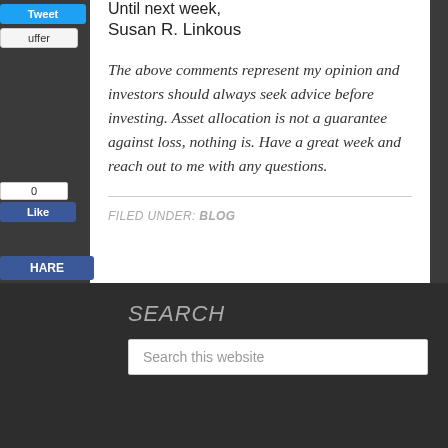Until next week,
Susan R. Linkous
The above comments represent my opinion and investors should always seek advice before investing. Asset allocation is not a guarantee against loss, nothing is. Have a great week and reach out to me with any questions.
FILED UNDER: BLOG
SEARCH